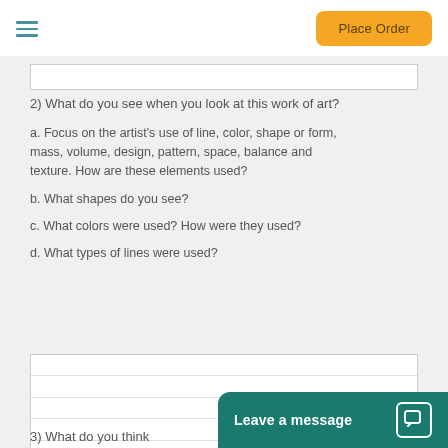Place Order
2) What do you see when you look at this work of art?
a. Focus on the artist's use of line, color, shape or form, mass, volume, design, pattern, space, balance and texture. How are these elements used?
b. What shapes do you see?
c. What colors were used? How were they used?
d. What types of lines were used?
3) What do you think